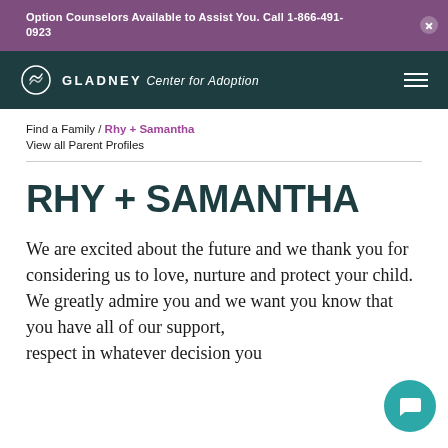Option Counselors Available to Assist You. Call 1-866-491-0923
GLADNEY Center for Adoption
Find a Family / Rhy + Samantha
View all Parent Profiles
RHY + SAMANTHA
We are excited about the future and we thank you for considering us to love, nurture and protect your child. We greatly admire you and we want you know that you have all of our support, respect in whatever decision you